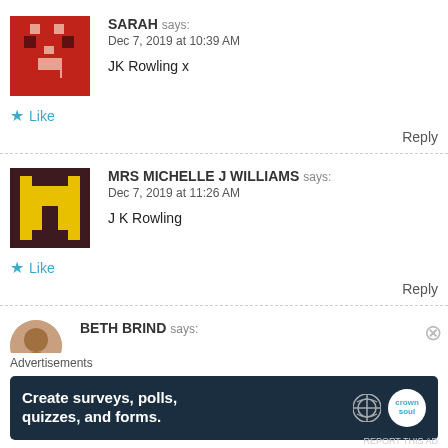[Figure (illustration): Pixel art avatar: red background with pixelated character in pinkish-red tones]
SARAH says:
Dec 7, 2019 at 10:39 AM

JK Rowling x
★ Like
Reply
[Figure (illustration): Pixel art avatar: dark brown/maroon background with yellow letter M design]
MRS MICHELLE J WILLIAMS says:
Dec 7, 2019 at 11:26 AM

J K Rowling
★ Like
Reply
[Figure (illustration): Circular avatar: brown circular image]
BETH BRIND says:
Advertisements
[Figure (screenshot): Dark blue advertisement banner: Create surveys, polls, quizzes, and forms. with WordPress and Crown icons]